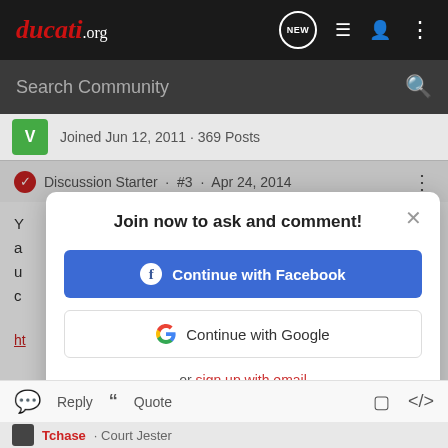ducati.org
Search Community
Joined Jun 12, 2011 · 369 Posts
Discussion Starter · #3 · Apr 24, 2014
[Figure (screenshot): Modal dialog overlay on ducati.org forum page with title 'Join now to ask and comment!' and two buttons: 'Continue with Facebook' and 'Continue with Google', plus link 'or sign up with email']
Reply   Quote